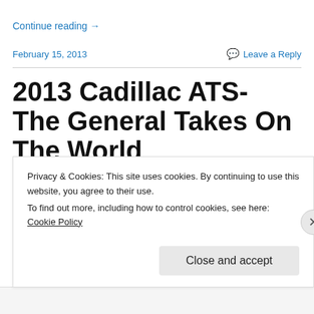Continue reading →
February 15, 2013
Leave a Reply
2013 Cadillac ATS- The General Takes On The World
Privacy & Cookies: This site uses cookies. By continuing to use this website, you agree to their use. To find out more, including how to control cookies, see here: Cookie Policy
Close and accept